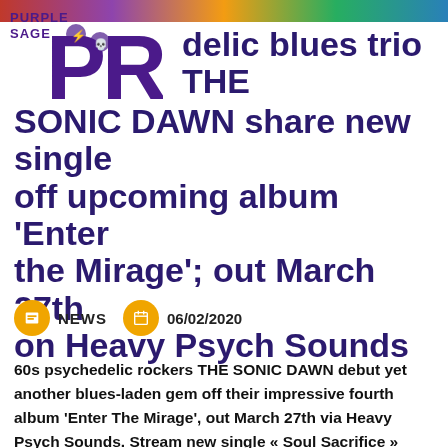[Figure (logo): Purple Sage PR logo overlaid on a colorful photo strip at top of page]
60s psychedelic blues trio THE SONIC DAWN share new single off upcoming album ‘Enter the Mirage’; out March 27th on Heavy Psych Sounds
NEWS   06/02/2020
60s psychedelic rockers THE SONIC DAWN debut yet another blues-laden gem off their impressive fourth album ‘Enter The Mirage’, out March 27th via Heavy Psych Sounds. Stream new single « Soul Sacrifice » courtesy of It’s Psychedelic Baby Mag.